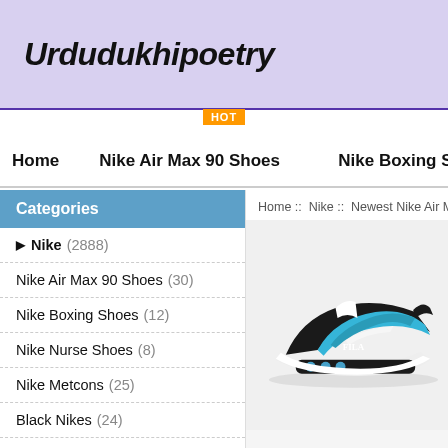Urdudukhipoetry
HOT
Home   Nike Air Max 90 Shoes   Nike Boxing Shoes
Categories
Home :: Nike :: Newest Nike Air Max :: n
Nike (2888)
Nike Air Max 90 Shoes (30)
Nike Boxing Shoes (12)
Nike Nurse Shoes (8)
Nike Metcons (25)
Black Nikes (24)
Nike Acg Shoes (20)
Nike Boots Men (28)
[Figure (photo): Blue, black and white Nike Air Max 2090 sneaker on light grey background]